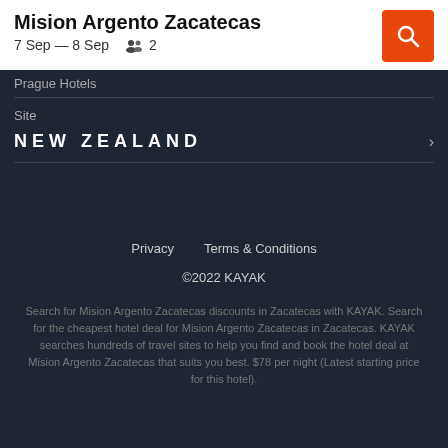Mision Argento Zacatecas
7 Sep — 8 Sep    2
Prague Hotels
Site
NEW ZEALAND
Privacy
Terms & Conditions
©2022 KAYAK
Search for Mision Argento Zacatecas discounts in Zacatecas with KAYAK. Search for the cheapest hotel deal for Mision Argento Zacatecas in Zacatecas. KAYAK searches hundreds of travel sites to help you find and book the hotel deal at Mision Argento Zacatecas that suits you best. $78 per night (Latest starting price for this hotel).